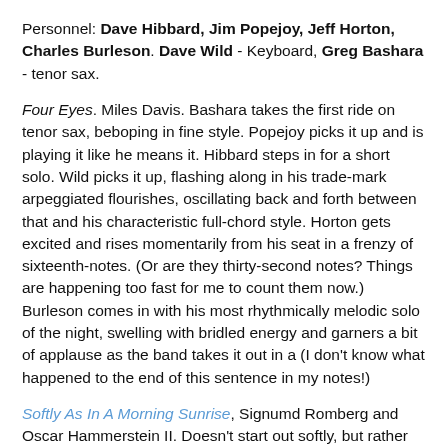Personnel: Dave Hibbard, Jim Popejoy, Jeff Horton, Charles Burleson. Dave Wild - Keyboard, Greg Bashara - tenor sax.
Four Eyes. Miles Davis. Bashara takes the first ride on tenor sax, beboping in fine style. Popejoy picks it up and is playing it like he means it. Hibbard steps in for a short solo. Wild picks it up, flashing along in his trade-mark arpeggiated flourishes, oscillating back and forth between that and his characteristic full-chord style. Horton gets excited and rises momentarily from his seat in a frenzy of sixteenth-notes. (Or are they thirty-second notes? Things are happening too fast for me to count them now.) Burleson comes in with his most rhythmically melodic solo of the night, swelling with bridled energy and garners a bit of applause as the band takes it out in a (I don't know what happened to the end of this sentence in my notes!)
Softly As In A Morning Sunrise, Signumd Romberg and Oscar Hammerstein II. Doesn't start out softly, but rather with a strongly syncopated rhythm section which is overlayed by the lyrical, Latin theme. Horton rises to his feet and moves